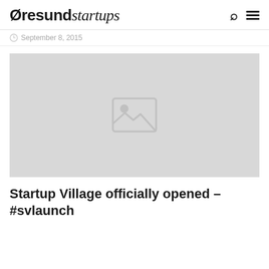Øresundstartups
September 8, 2015
[Figure (photo): Placeholder image with grey background and image icon indicating a missing or not-yet-loaded photo.]
Startup Village officially opened – #svlaunch